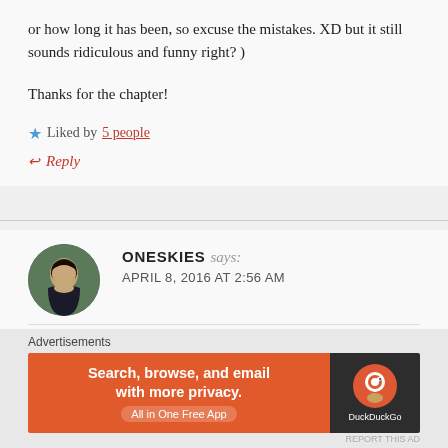or how long it has been, so excuse the mistakes. XD but it still sounds ridiculous and funny right? )
Thanks for the chapter!
★ Liked by 5 people
↩ Reply
ONESKIES says: APRIL 8, 2016 AT 2:56 AM
chu yang is not normal dude......
Like
[Figure (other): DuckDuckGo advertisement banner: orange left panel with text 'Search, browse, and email with more privacy. All in One Free App', dark right panel with DuckDuckGo logo]